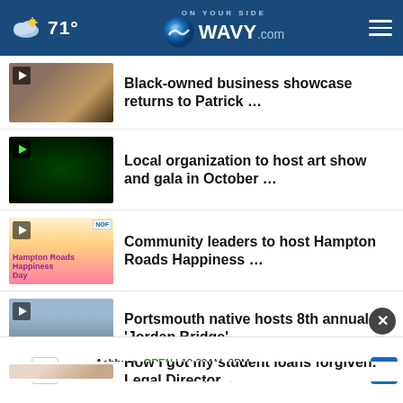71° WAVY.com - On Your Side
Black-owned business showcase returns to Patrick …
Local organization to host art show and gala in October …
Community leaders to host Hampton Roads Happiness …
Portsmouth native hosts 8th annual 'Jordan Bridge' …
How I got my student loans forgiven: Legal Director …
Ashburn  OPEN  10:30AM–9PM  44155 Ashbrook Marketplace, As…